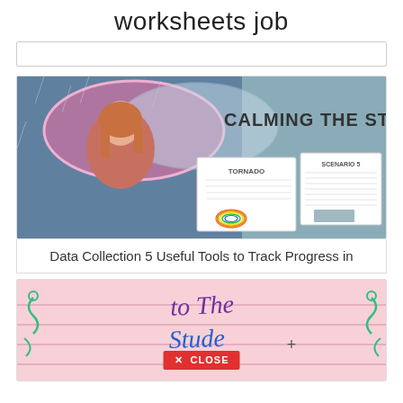worksheets job
[Figure (screenshot): Screenshot of a product image showing 'CALMING THE STORM' worksheet with a girl holding an umbrella in the rain, and sample worksheet pages showing 'TORNADO' and 'SCENARIO 5' content]
Data Collection 5 Useful Tools to Track Progress in
[Figure (photo): Pink-lined notebook paper with handwritten text 'to the Student...' in colorful letters with decorative swirls, with a red CLOSE button overlay]